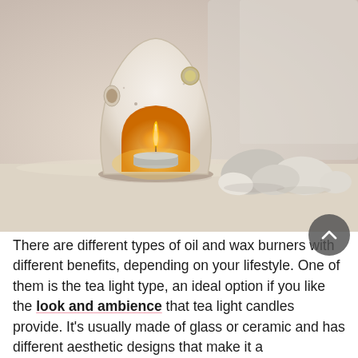[Figure (photo): A white ceramic tea light oil burner with a warm glowing candle inside, surrounded by smooth beige and white stones on a light surface, with soft blurred white fabric in the background.]
There are different types of oil and wax burners with different benefits, depending on your lifestyle. One of them is the tea light type, an ideal option if you like the look and ambience that tea light candles provide. It's usually made of glass or ceramic and has different aesthetic designs that make it a